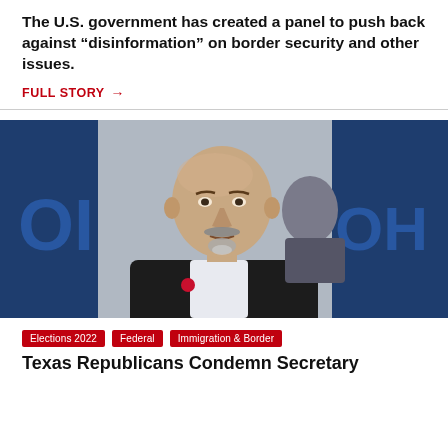The U.S. government has created a panel to push back against “disinformation” on border security and other issues.
FULL STORY →
[Figure (photo): A bald man in a dark blazer with a goatee, speaking at an event with a blue and white banner in the background. Another person visible behind him.]
Elections 2022
Federal
Immigration & Border
Texas Republicans Condemn Secretary